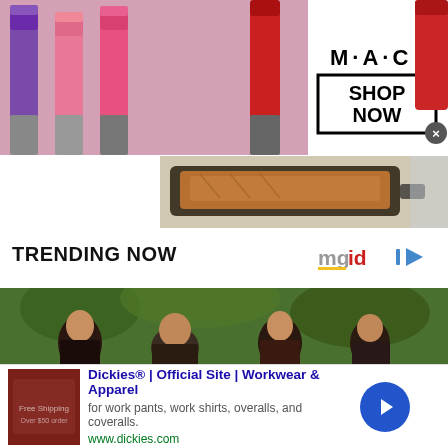[Figure (photo): MAC Cosmetics advertisement banner with colorful lipsticks on left and MAC logo with SHOP NOW button on right]
[Figure (photo): Partial food image showing a baked/grilled item on a pan, partially visible]
TRENDING NOW
[Figure (logo): mgid logo with play button icon]
[Figure (photo): Photo of Barack Obama with family members outdoors among trees]
[Figure (screenshot): Dickies advertisement: Dickies® | Official Site | Workwear & Apparel - for work pants, work shirts, overalls, and coveralls. www.dickies.com]